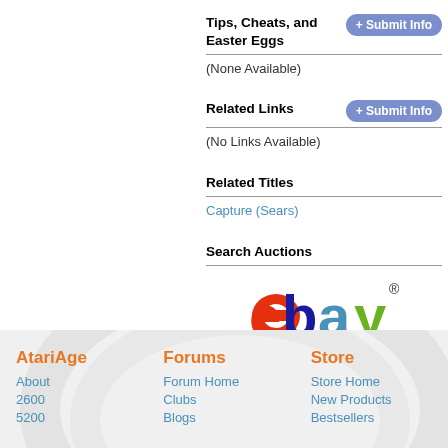Tips, Cheats, and Easter Eggs
(None Available)
Related Links
(No Links Available)
Related Titles
Capture (Sears)
Search Auctions
[Figure (logo): eBay logo with red 'e', dark blue 'b', blue 'a', green 'y' and registered trademark symbol]
AtariAge | Forums | Store | About | 2600 | 5200 | Forum Home | Clubs | Blogs | Store Home | New Products | Bestsellers